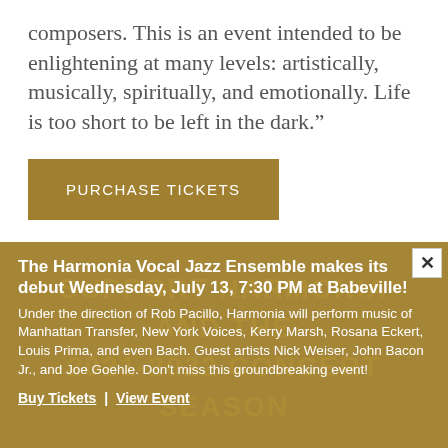composers. This is an event intended to be enlightening at many levels: artistically, musically, spiritually, and emotionally. Life is too short to be left in the dark.”
PURCHASE TICKETS
The Harmonia Vocal Jazz Ensemble makes its debut Wednesday, July 13, 7:30 PM at Babeville!
Under the direction of Rob Pacillo, Harmonia will perform music of Manhattan Transfer, New York Voices, Kerry Marsh, Rosana Eckert, Louis Prima, and even Bach. Guest artists Nick Weiser, John Bacon Jr., and Joe Goehle. Don’t miss this groundbreaking event!
Buy Tickets | View Event